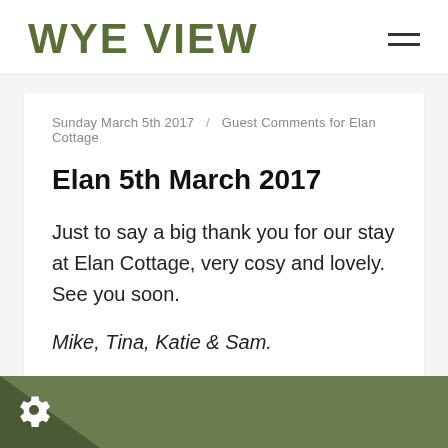WYE VIEW
Sunday March 5th 2017 / Guest Comments for Elan Cottage
Elan 5th March 2017
Just to say a big thank you for our stay at Elan Cottage, very cosy and lovely. See you soon.
Mike, Tina, Katie & Sam.